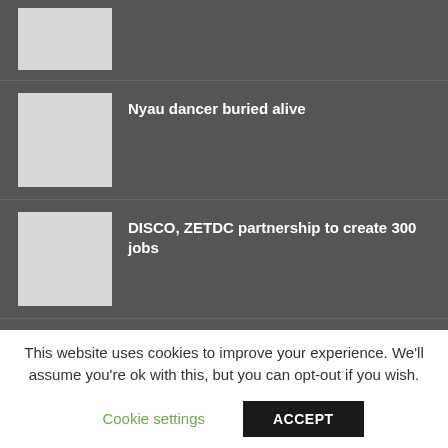[Figure (photo): Thumbnail image placeholder (partially visible at top)]
Nyau dancer buried alive
DISCO, ZETDC partnership to create 300 jobs
Women challenged to participate in politics
This website uses cookies to improve your experience. We'll assume you're ok with this, but you can opt-out if you wish.
Cookie settings
ACCEPT